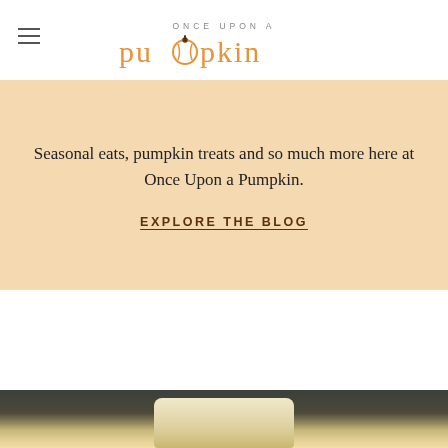[Figure (logo): Once Upon a Pumpkin logo with orange script lettering and pumpkin icon replacing the 'o']
Seasonal eats, pumpkin treats and so much more here at Once Upon a Pumpkin.
EXPLORE THE BLOG
[Figure (photo): Close-up photo of a creamy pumpkin spice latte in a glass jar, set against a dark grey-green background]